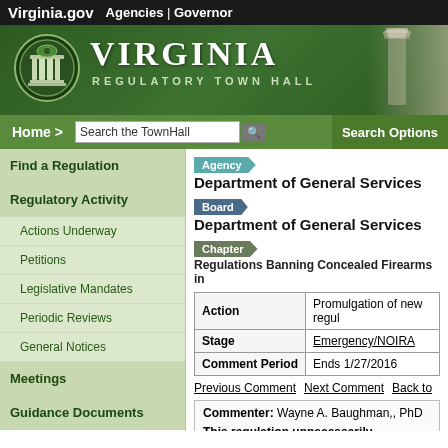Virginia.gov   Agencies | Governor
[Figure (screenshot): Virginia Regulatory Town Hall green banner header with state seal logo]
Home >   Search the TownHall   Search Options
Find a Regulation
Regulatory Activity
Actions Underway
Petitions
Legislative Mandates
Periodic Reviews
General Notices
Meetings
Guidance Documents
Agency
Department of General Services
Board
Department of General Services
Chapter
Regulations Banning Concealed Firearms in
| Action | Promulgation of new regul... |
| --- | --- |
| Stage | Emergency/NOIRA |
| Comment Period | Ends 1/27/2016 |
Previous Comment   Next Comment   Back to
Commenter: Wayne A. Baughman,, PhD
This regulation unnecessarily endangers in